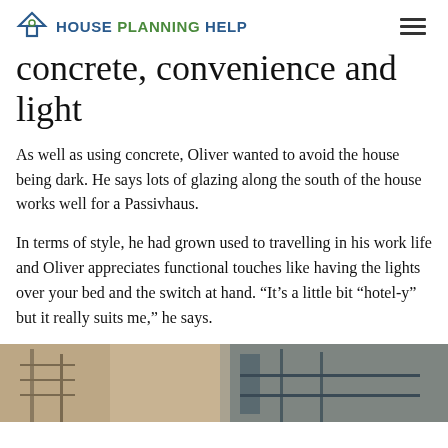House Planning Help
concrete, convenience and light
As well as using concrete, Oliver wanted to avoid the house being dark. He says lots of glazing along the south of the house works well for a Passivhaus.
In terms of style, he had grown used to travelling in his work life and Oliver appreciates functional touches like having the lights over your bed and the switch at hand. “It’s a little bit “hotel-y” but it really suits me,” he says.
[Figure (photo): Construction site photo showing building materials and structure under construction]